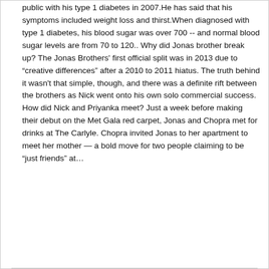public with his type 1 diabetes in 2007.He has said that his symptoms included weight loss and thirst.When diagnosed with type 1 diabetes, his blood sugar was over 700 -- and normal blood sugar levels are from 70 to 120.. Why did Jonas brother break up? The Jonas Brothers' first official split was in 2013 due to “creative differences” after a 2010 to 2011 hiatus. The truth behind it wasn't that simple, though, and there was a definite rift between the brothers as Nick went onto his own solo commercial success. How did Nick and Priyanka meet? Just a week before making their debut on the Met Gala red carpet, Jonas and Chopra met for drinks at The Carlyle. Chopra invited Jonas to her apartment to meet her mother — a bold move for two people claiming to be “just friends” at…